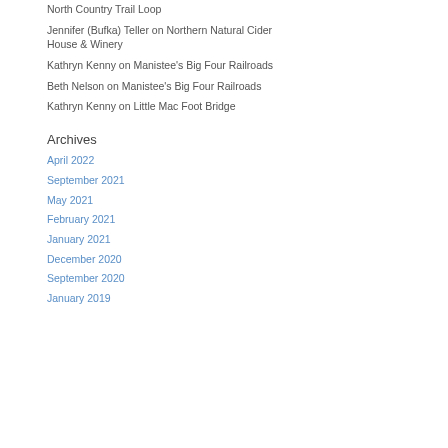North Country Trail Loop
Jennifer (Bufka) Teller on Northern Natural Cider House & Winery
Kathryn Kenny on Manistee's Big Four Railroads
Beth Nelson on Manistee's Big Four Railroads
Kathryn Kenny on Little Mac Foot Bridge
Archives
April 2022
September 2021
May 2021
February 2021
January 2021
December 2020
September 2020
January 2019